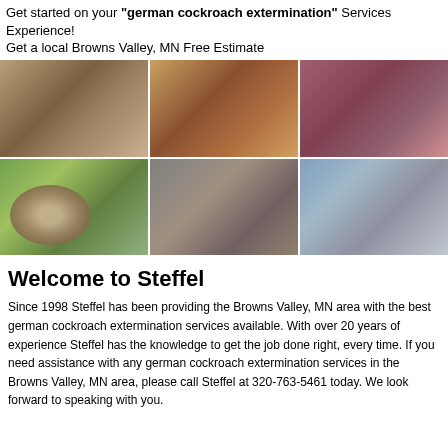Get started on your "german cockroach extermination" Services Experience!
Get a local Browns Valley, MN Free Estimate
[Figure (photo): A 2x3 grid of pest control related photos: top row shows insects/bugs up close (grubs/larvae, cockroach or pest on surface, flower/animal close-up); bottom row shows a wasp nest hanging in a tree, a mouse looking at camera, and a swallow bird in flight against blue sky.]
Welcome to Steffel
Since 1998 Steffel has been providing the Browns Valley, MN area with the best german cockroach extermination services available. With over 20 years of experience Steffel has the knowledge to get the job done right, every time. If you need assistance with any german cockroach extermination services in the Browns Valley, MN area, please call Steffel at 320-763-5461 today. We look forward to speaking with you.